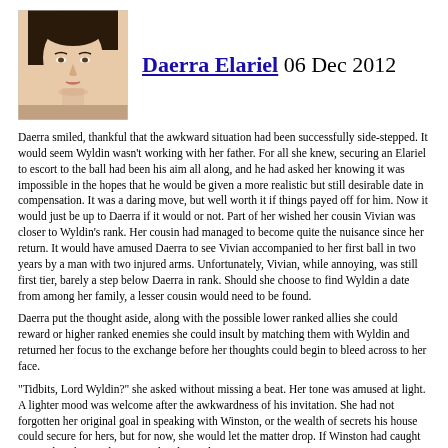[Figure (photo): Portrait photo of a woman touching her face, shown from shoulders up, black hair pulled back]
Daerra Elariel 06 Dec 2012
Daerra smiled, thankful that the awkward situation had been successfully side-stepped. It would seem Wyldin wasn't working with her father. For all she knew, securing an Elariel to escort to the ball had been his aim all along, and he had asked her knowing it was impossible in the hopes that he would be given a more realistic but still desirable date in compensation. It was a daring move, but well worth it if things payed off for him. Now it would just be up to Daerra if it would or not. Part of her wished her cousin Vivian was closer to Wyldin's rank. Her cousin had managed to become quite the nuisance since her return. It would have amused Daerra to see Vivian accompanied to her first ball in two years by a man with two injured arms. Unfortunately, Vivian, while annoying, was still first tier, barely a step below Daerra in rank. Should she choose to find Wyldin a date from among her family, a lesser cousin would need to be found.
Daerra put the thought aside, along with the possible lower ranked allies she could reward or higher ranked enemies she could insult by matching them with Wyldin and returned her focus to the exchange before her thoughts could begin to bleed across to her face.
"Tidbits, Lord Wyldin?" she asked without missing a beat. Her tone was amused at light. A lighter mood was welcome after the awkwardness of his invitation. She had not forgotten her original goal in speaking with Winston, or the wealth of secrets his house could secure for hers, but for now, she would let the matter drop. If Winston had caught on to what she was hinting at, he obviously wasn't